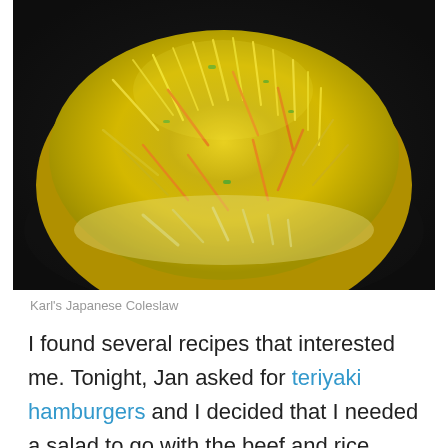[Figure (photo): Close-up photo of Karl's Japanese Coleslaw — a mound of shredded yellow/green cabbage and orange carrots with green onion pieces, served in a dark bowl.]
Karl's Japanese Coleslaw
I found several recipes that interested me. Tonight, Jan asked for teriyaki hamburgers and I decided that I needed a salad to go with the beef and rice. Harumi's recipe for Japanese coleslaw sounded like a good match—while I pretty much kept the dressing, I changed almost every